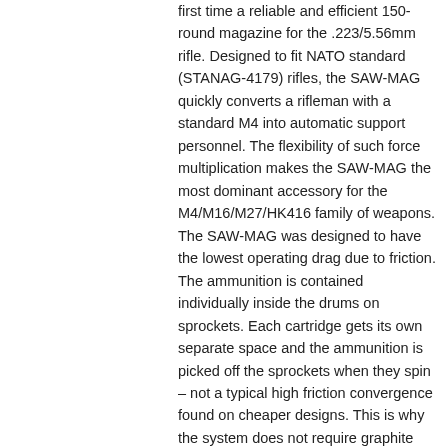first time a reliable and efficient 150-round magazine for the .223/5.56mm rifle. Designed to fit NATO standard (STANAG-4179) rifles, the SAW-MAG quickly converts a rifleman with a standard M4 into automatic support personnel. The flexibility of such force multiplication makes the SAW-MAG the most dominant accessory for the M4/M16/M27/HK416 family of weapons. The SAW-MAG was designed to have the lowest operating drag due to friction. The ammunition is contained individually inside the drums on sprockets. Each cartridge gets its own separate space and the ammunition is picked off the sprockets when they spin – not a typical high friction convergence found on cheaper designs. This is why the system does not require graphite lubrication to work. Instead of funneling the ammunition, the SAW-MAG uses a proprietary design that allows the ammunition to always be in a singular stream that results in a very low friction operation. The SAW-MAG is made from hi-impact glass nylon to keep durability high and weight low. In fact, a loaded SAW-MAG plus an HK 416 weighs a pound less than an unloaded Squad Automatic Weapon. A MOLLE carry bag is now available as an optional accessory. The SAW-MAG is warranted against all defects and workmanship for a period of one year from the